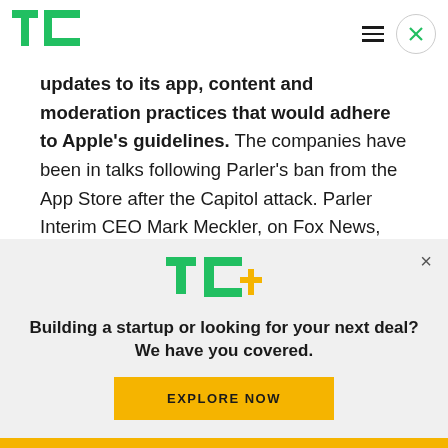TechCrunch logo, hamburger menu, close button
updates to its app, content and moderation practices that would adhere to Apple’s guidelines. The companies have been in talks following Parler’s ban from the App Store after the Capitol attack. Parler Interim CEO Mark Meckler, on Fox News, referred to the changes it had to make as “censorship.” He said Google had also reached
[Figure (logo): TC+ logo (TechCrunch plus logo in green and yellow)]
Building a startup or looking for your next deal? We have you covered.
EXPLORE NOW